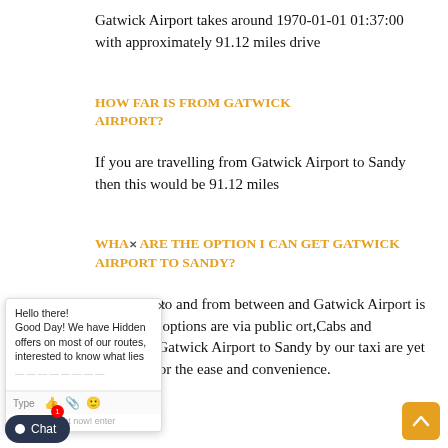Gatwick Airport takes around 1970-01-01 01:37:00 with approximately 91.12 miles drive
HOW FAR IS FROM GATWICK AIRPORT?
If you are travelling from Gatwick Airport to Sandy then this would be 91.12 miles
WHAT ARE THE OPTION I CAN GET GATWICK AIRPORT TO SANDY?
Travelling to and from between and Gatwick Airport is possible le options are via public ort,Cabs and trains.But Gatwick Airport to Sandy by our taxi are yet preferred for the ease and convenience.
[Figure (screenshot): Chat widget overlay showing 'Hello there! Good Day! We have Hidden offers on most of our routes, interested to know what lies' with a type input bar and icons]
[Figure (other): Chat button bottom-left with speech bubble dot and badge showing 1]
[Figure (other): Scroll-to-top button (orange/yellow rounded square with upward arrow) at bottom right]